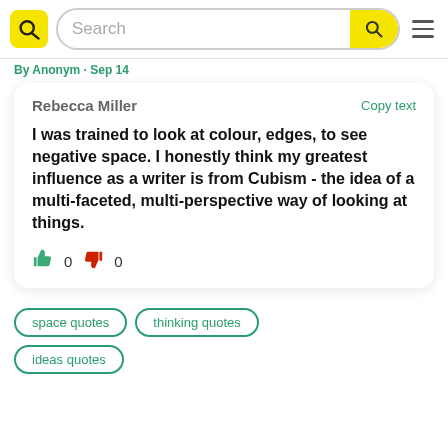Search
By Anonym · Sep 14
Rebecca Miller  Copy text
I was trained to look at colour, edges, to see negative space. I honestly think my greatest influence as a writer is from Cubism - the idea of a multi-faceted, multi-perspective way of looking at things.
space quotes
thinking quotes
ideas quotes